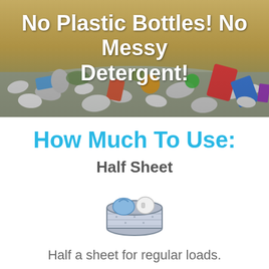[Figure (photo): Beach or landfill covered in plastic waste and debris, used as background for the hero banner image.]
No Plastic Bottles! No Messy Detergent!
How Much To Use:
Half Sheet
[Figure (illustration): Simple line illustration of a laundry basket with a shirt and detergent sheet inside.]
Half a sheet for regular loads.